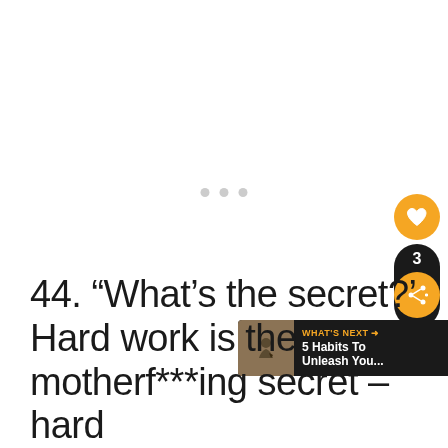[Figure (other): Loading indicator with three small grey dots centered horizontally]
[Figure (infographic): Social media sidebar with heart/like button (orange circle), share count badge showing 3, and share button (orange circle with share icon)]
[Figure (infographic): WHAT'S NEXT banner with thumbnail image and text '5 Habits To Unleash You...']
44. “What’s the secret?’ Hard work is the motherf***ing secret – hard